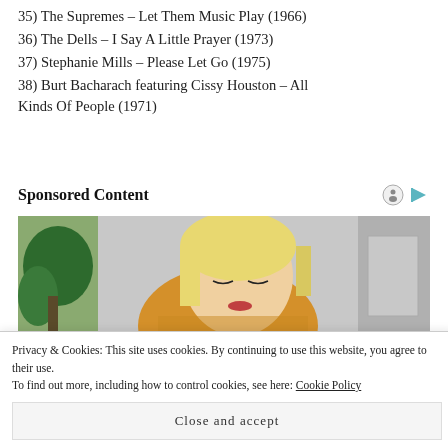35) The Supremes – Let Them Music Play (1966)
36) The Dells – I Say A Little Prayer (1973)
37) Stephanie Mills – Please Let Go (1975)
38) Burt Bacharach featuring Cissy Houston – All Kinds Of People (1971)
Sponsored Content
[Figure (photo): A blonde woman in a yellow sweater looking downward, with green plants and a grey background]
Privacy & Cookies: This site uses cookies. By continuing to use this website, you agree to their use.
To find out more, including how to control cookies, see here: Cookie Policy
Close and accept